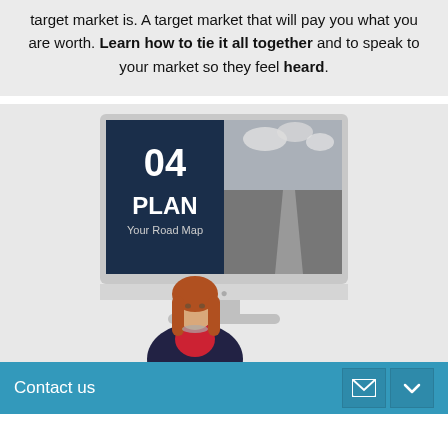target market is. A target market that will pay you what you are worth. Learn how to tie it all together and to speak to your market so they feel heard.
[Figure (illustration): A monitor/iMac-style computer screen showing a presentation slide with '04 PLAN Your Road Map' on the left side (dark navy background with white text) and a black-and-white photo of a boardwalk path on the right side. A woman with red hair in a dark blazer and red top stands in front of the monitor.]
Contact us